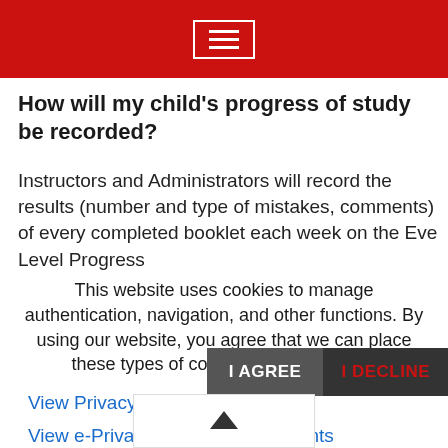[Navigation bar with hamburger menu icon]
How will my child's progress of study be recorded?
Instructors and Administrators will record the results (number and type of mistakes, comments) of every completed booklet each week on the Eve Level Progress
This website uses cookies to manage authentication, navigation, and other functions. By using our website, you agree that we can place these types of cookies on your device.
View Privacy Policy
View e-Privacy Directive Documents
View GDPR Documents